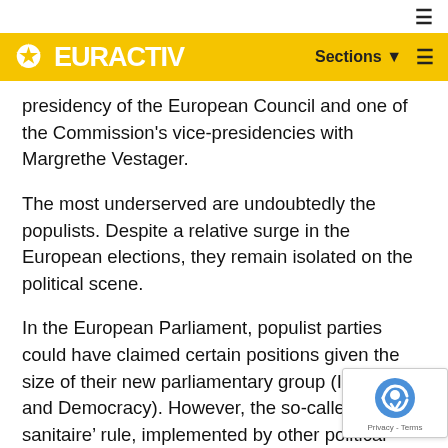EURACTIV — Sections
presidency of the European Council and one of the Commission's vice-presidencies with Margrethe Vestager.
The most underserved are undoubtedly the populists. Despite a relative surge in the European elections, they remain isolated on the political scene.
In the European Parliament, populist parties could have claimed certain positions given the size of their new parliamentary group (Identity and Democracy). However, the so-called 'cordon sanitaire' rule, implemented by other political groups, deprived of the Parliament's vice-presidency.